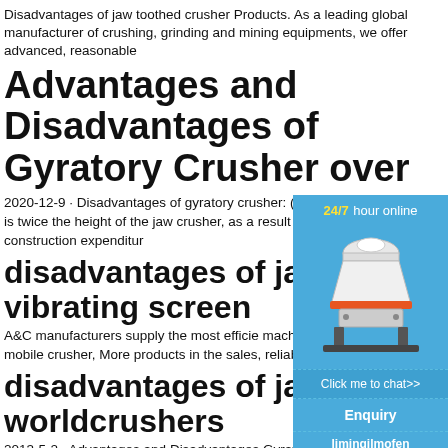Disadvantages of jaw toothed crusher Products. As a leading global manufacturer of crushing, grinding and mining equipments, we offer advanced, reasonable
Advantages and Disadvantages of Gyratory Crusher over
2020-12-9 · Disadvantages of gyratory crusher: (1) The gyratory crusher is twice the height of the jaw crusher, as a result of which, the construction expenditur
disadvantages of jaw c ykn vibrating screen
A&C manufacturers supply the most efficie machine, vertical roller mill, mobile crusher, More products in the sales, reliable quality
disadvantages of jaw c worldcrushers
2013-5-2 · Advantages and Disadvantages Gyratory Crushers . Neither machine is par
[Figure (illustration): Side widget with blue background showing a cone crusher machine image, '24/7 hour online' text in yellow and white, 'Click me to chat>>' button, 'Enquiry' section, and 'limingjlmofen' footer text]